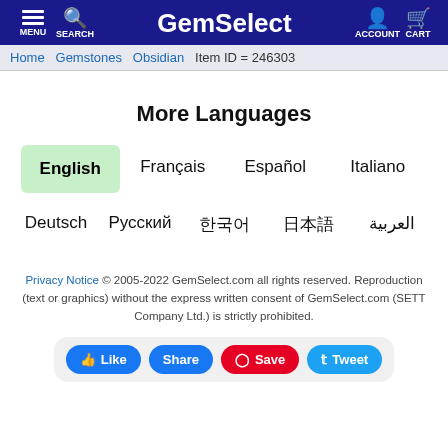MENU  SEARCH  GemSelect  ACCOUNT  CART
Home  Gemstones  Obsidian  Item ID = 246303
More Languages
English  Français  Español  Italiano
Deutsch  Русский  한국어  日本語  العربية
Privacy Notice © 2005-2022 GemSelect.com all rights reserved. Reproduction (text or graphics) without the express written consent of GemSelect.com (SETT Company Ltd.) is strictly prohibited.
Like  Share  Save  Tweet